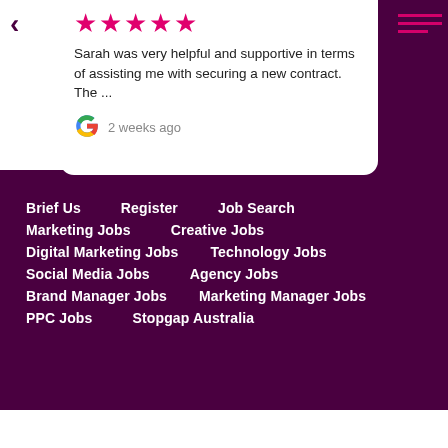[Figure (other): Five pink/magenta star rating icons]
Sarah was very helpful and supportive in terms of assisting me with securing a new contract. The ...
[Figure (logo): Google 'G' logo with coloured segments]
2 weeks ago
Brief Us
Register
Job Search
Marketing Jobs
Creative Jobs
Digital Marketing Jobs
Technology Jobs
Social Media Jobs
Agency Jobs
Brand Manager Jobs
Marketing Manager Jobs
PPC Jobs
Stopgap Australia